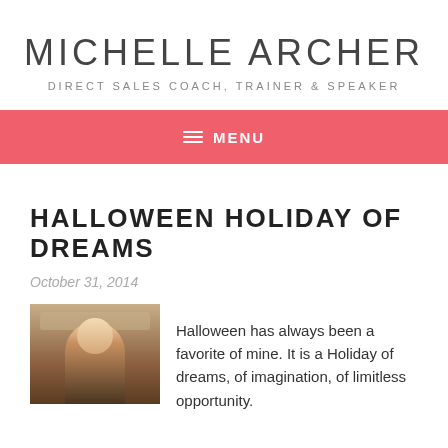MICHELLE ARCHER
DIRECT SALES COACH, TRAINER & SPEAKER
MENU
HALLOWEEN HOLIDAY OF DREAMS
October 31, 2014
[Figure (photo): Photo of a woman with long brown hair in an indoor setting with a fireplace mantle visible in the background]
Halloween has always been a favorite of mine.  It is a Holiday of dreams, of imagination, of limitless opportunity.